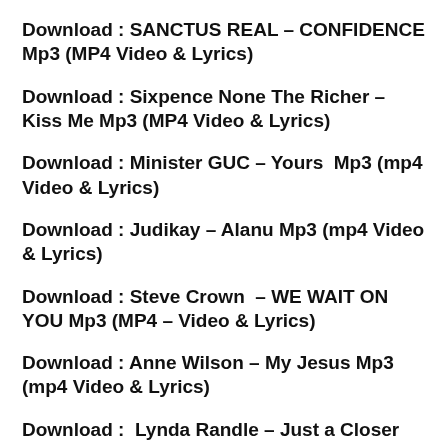Download : SANCTUS REAL – CONFIDENCE Mp3 (MP4 Video & Lyrics)
Download : Sixpence None The Richer – Kiss Me Mp3 (MP4 Video & Lyrics)
Download : Minister GUC – Yours  Mp3 (mp4 Video & Lyrics)
Download : Judikay – Alanu Mp3 (mp4 Video & Lyrics)
Download : Steve Crown  – WE WAIT ON YOU Mp3 (MP4 – Video & Lyrics)
Download : Anne Wilson – My Jesus Mp3 (mp4 Video & Lyrics)
Download :  Lynda Randle – Just a Closer